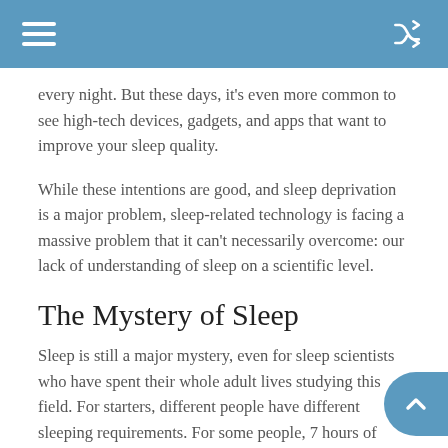every night. But these days, it's even more common to see high-tech devices, gadgets, and apps that want to improve your sleep quality.
While these intentions are good, and sleep deprivation is a major problem, sleep-related technology is facing a massive problem that it can't necessarily overcome: our lack of understanding of sleep on a scientific level.
The Mystery of Sleep
Sleep is still a major mystery, even for sleep scientists who have spent their whole adult lives studying this field. For starters, different people have different sleeping requirements. For some people, 7 hours of